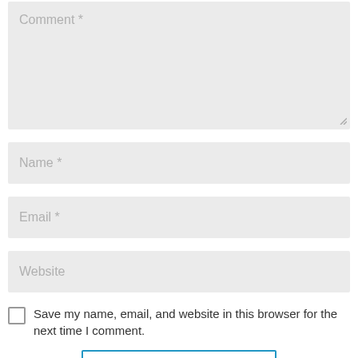[Figure (screenshot): Web comment form with fields: Comment (textarea), Name, Email, Website (text inputs), a checkbox for saving info, and a Submit Comment button.]
Comment *
Name *
Email *
Website
Save my name, email, and website in this browser for the next time I comment.
Submit Comment